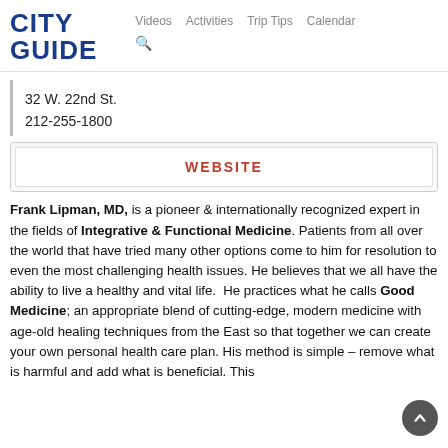CITY GUIDE  Videos  Activities  Trip Tips  Calendar
32 W. 22nd St.
212-255-1800
WEBSITE
Frank Lipman, MD, is a pioneer & internationally recognized expert in the fields of Integrative & Functional Medicine. Patients from all over the world that have tried many other options come to him for resolution to even the most challenging health issues. He believes that we all have the ability to live a healthy and vital life.  He practices what he calls Good Medicine; an appropriate blend of cutting-edge, modern medicine with age-old healing techniques from the East so that together we can create your own personal health care plan. His method is simple – remove what is harmful and add what is beneficial. This